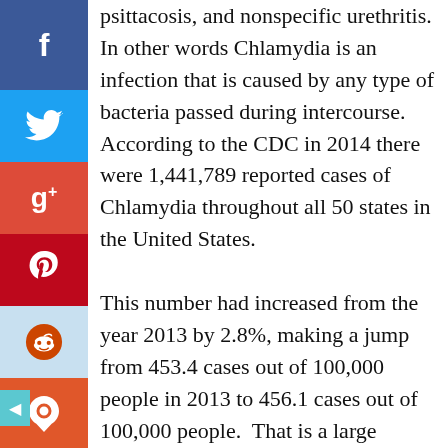psittacosis, and nonspecific urethritis. In other words Chlamydia is an infection that is caused by any type of bacteria passed during intercourse.  According to the CDC in 2014 there were 1,441,789 reported cases of Chlamydia throughout all 50 states in the United States.  This number had increased from the year 2013 by 2.8%, making a jump from 453.4 cases out of 100,000 people in 2013 to 456.1 cases out of 100,000 people.  That is a large percentage of people that are getting treated for Chlamydia, when you take in account each states population. Again, remembering that these are only the reported cases of this STD, this number has the potential to be larger than this.